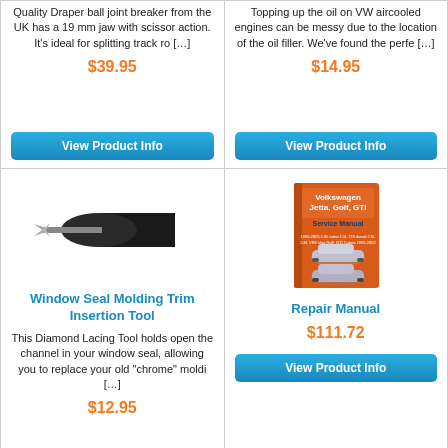Quality Draper ball joint breaker from the UK has a 19 mm jaw with scissor action. It's ideal for splitting track ro [...]
$39.95
View Product Info
Topping up the oil on VW aircooled engines can be messy due to the location of the oil filler. We've found the perfe [...]
$14.95
View Product Info
[Figure (photo): Window seal molding trim insertion tool - a black screwdriver-like tool with a forked flat end]
Window Seal Molding Trim Insertion Tool
This Diamond Lacing Tool holds open the channel in your window seal, allowing you to replace your old "chrome" moldi [...]
$12.95
[Figure (photo): Volkswagen Jetta, Golf, GTI Service Manual book with orange cover showing two silver cars]
Repair Manual
$111.72
View Product Info